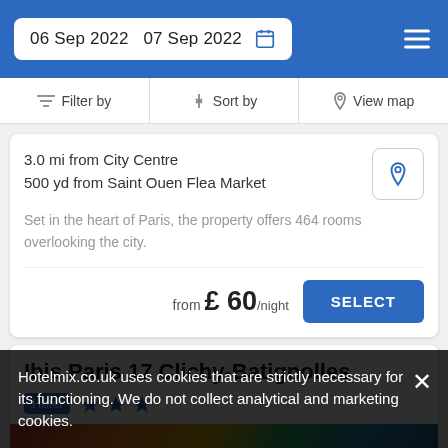06 Sep 2022  07 Sep 2022
Filter by  Sort by  View map
3.0 mi from City Centre
500 yd from Saint Ouen Flea Market
Set in the heart of Paris, the property offers 464 rooms overlooking the city.
from £ 60/night
Ibis Paris 17 Clichy-Batignolles
Hotel ★★★
Hotelmix.co.uk uses cookies that are strictly necessary for its functioning. We do not collect analytical and marketing cookies.